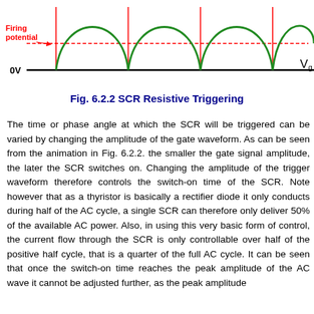[Figure (continuous-plot): Waveform diagram showing SCR resistive triggering. Three green arched half-sine waveforms (gate signal Vg) are shown above a horizontal black 0V baseline. A horizontal red dashed line indicates the firing potential threshold. Red vertical lines mark where the gate waveform crosses the firing potential. The labels 'Firing potential' in red with an arrow pointing to the threshold line, '0V' on the left of the baseline, and 'Vg' on the right are shown.]
Fig. 6.2.2 SCR Resistive Triggering
The time or phase angle at which the SCR will be triggered can be varied by changing the amplitude of the gate waveform. As can be seen from the animation in Fig. 6.2.2. the smaller the gate signal amplitude, the later the SCR switches on. Changing the amplitude of the trigger waveform therefore controls the switch-on time of the SCR. Note however that as a thyristor is basically a rectifier diode it only conducts during half of the AC cycle, a single SCR can therefore only deliver 50% of the available AC power. Also, in using this very basic form of control, the current flow through the SCR is only controllable over half of the positive half cycle, that is a quarter of the full AC cycle. It can be seen that once the switch-on time reaches the peak amplitude of the AC wave it cannot be adjusted further, as the peak amplitude